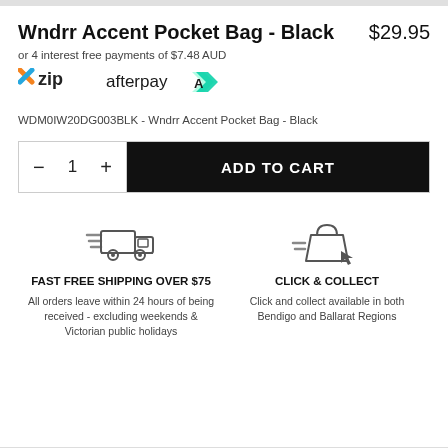Wndrr Accent Pocket Bag - Black
$29.95
or 4 interest free payments of $7.48 AUD
[Figure (logo): Zip and Afterpay payment logos]
WDM0IW20DG003BLK - Wndrr Accent Pocket Bag - Black
ADD TO CART  quantity selector with minus, 1, plus buttons
[Figure (infographic): Fast Free Shipping Over $75 icon - delivery truck with speed lines]
FAST FREE SHIPPING OVER $75
All orders leave within 24 hours of being received - excluding weekends & Victorian public holidays
[Figure (infographic): Click & Collect icon - shopping bag with cursor arrow]
CLICK & COLLECT
Click and collect available in both Bendigo and Ballarat Regions